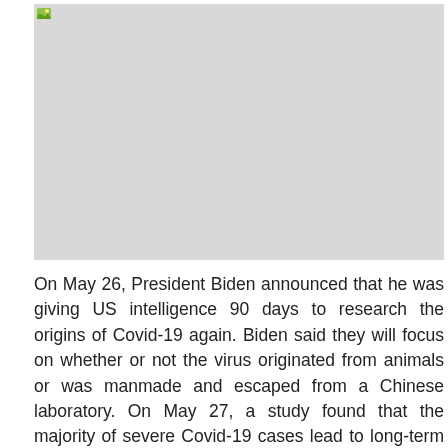[Figure (photo): Large placeholder image area (grey rectangle with broken image icon in top-left corner)]
On May 26, President Biden announced that he was giving US intelligence 90 days to research the origins of Covid-19 again. Biden said they will focus on whether or not the virus originated from animals or was manmade and escaped from a Chinese laboratory. On May 27, a study found that the majority of severe Covid-19 cases lead to long-term symptoms. Nearly three-quarters of those with